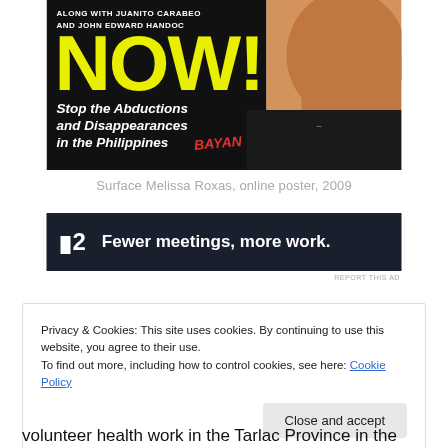[Figure (illustration): Online poster with yellow 'NOW!' text, black background, text 'ALONG WITH JUANITO CARABEO AND JOHN EDWARD HANDOC' and 'Stop the Abductions and Disappearances in the Philippines' with BAYAN logo, and a partial face on the right.]
Surface Melissa Roxas, online poster, 2009
[Figure (screenshot): Dark navy advertisement banner reading 'P2  Fewer meetings, more work.' with a white rectangular icon on the left.]
REPORT THIS AD
Privacy & Cookies: This site uses cookies. By continuing to use this website, you agree to their use.
To find out more, including how to control cookies, see here: Cookie Policy
volunteer health work in the Tarlac Province in the